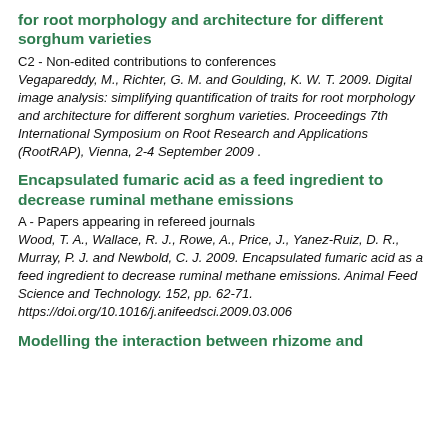for root morphology and architecture for different sorghum varieties
C2 - Non-edited contributions to conferences
Vegapareddy, M., Richter, G. M. and Goulding, K. W. T. 2009. Digital image analysis: simplifying quantification of traits for root morphology and architecture for different sorghum varieties. Proceedings 7th International Symposium on Root Research and Applications (RootRAP), Vienna, 2-4 September 2009 .
Encapsulated fumaric acid as a feed ingredient to decrease ruminal methane emissions
A - Papers appearing in refereed journals
Wood, T. A., Wallace, R. J., Rowe, A., Price, J., Yanez-Ruiz, D. R., Murray, P. J. and Newbold, C. J. 2009. Encapsulated fumaric acid as a feed ingredient to decrease ruminal methane emissions. Animal Feed Science and Technology. 152, pp. 62-71. https://doi.org/10.1016/j.anifeedsci.2009.03.006
Modelling the interaction between rhizome and